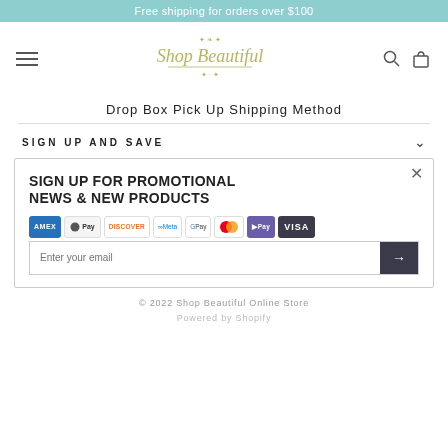Free shipping for orders over $100
[Figure (logo): Shop Beautiful decorative script logo with flourishes]
Drop Box Pick Up Shipping Method
SIGN UP AND SAVE
SIGN UP FOR PROMOTIONAL NEWS & NEW PRODUCTS
Enter your email
© 2022 Shop Beautiful Online Store
Powered by Shopify